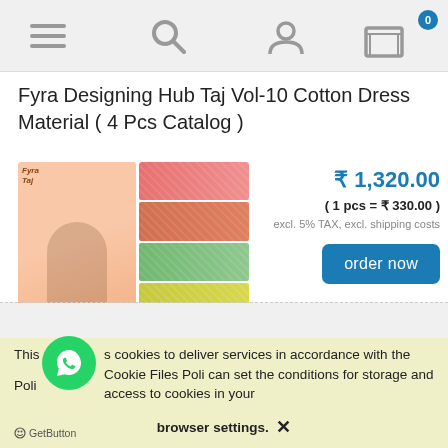Navigation header with menu, search, account, and cart icons
Fyra Designing Hub Taj Vol-10 Cotton Dress Material ( 4 Pcs Catalog )
[Figure (photo): Product images: left image shows a peach/salmon colored dress material on a mannequin; right image shows stacked fabric swatches in pink, green, yellow, and orange colors with floral print]
₹ 1,320.00
( 1 pcs = ₹ 330.00 )
excl. 5% TAX, excl. shipping costs
order now
This uses cookies to deliver services in accordance with the Cookie Files Policy. You can set the conditions for storage and access to cookies in your browser settings. ✕